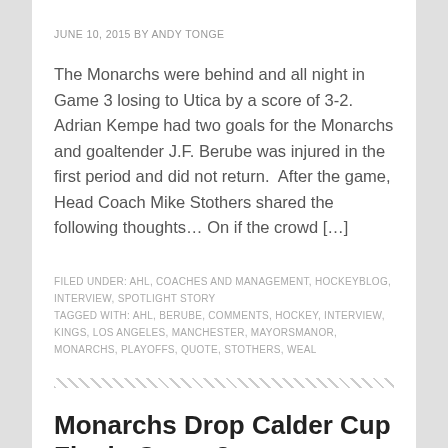JUNE 10, 2015 BY ANDY TONGE
The Monarchs were behind and all night in Game 3 losing to Utica by a score of 3-2.  Adrian Kempe had two goals for the Monarchs and goaltender J.F. Berube was injured in the first period and did not return.  After the game, Head Coach Mike Stothers shared the following thoughts… On if the crowd […]
FILED UNDER: AHL, COACHES AND MANAGEMENT, HOCKEYBLOG, INTERVIEW, SPOTLIGHT STORY
TAGGED WITH: AHL, BERUBE, COMMENTS, HOCKEY, INTERVIEW, KINGS, LOS ANGELES, MANCHESTER, MAYORSMANOR, MONARCHS, PLAYOFFS, QUOTE, STOTHERS, WEAL
Monarchs Drop Calder Cup Finals Game 3,